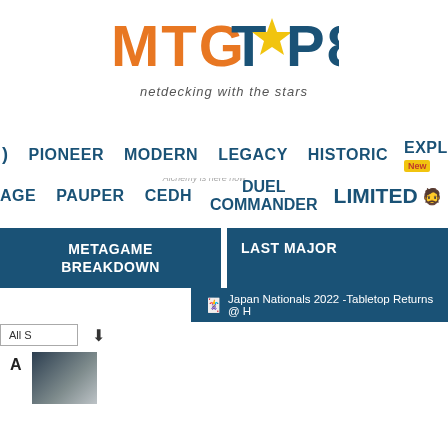[Figure (logo): MTGTOP8 logo with orange MTG text and blue TOP8 text and a yellow star]
netdecking with the stars
PIONEER MODERN LEGACY HISTORIC EXPLORER New
Alchemy is here now PAUPER cEDH DUEL COMMANDER LIMITED OTHER SU
METAGAME BREAKDOWN
LAST MAJOR
Japan Nationals 2022 -Tabletop Returns @ H
All S
A
This site uses cookies for analytics, ads and personalized content. By continuing to browse this site, you agree to this use as described in our Privacy Policy in detail.
OK